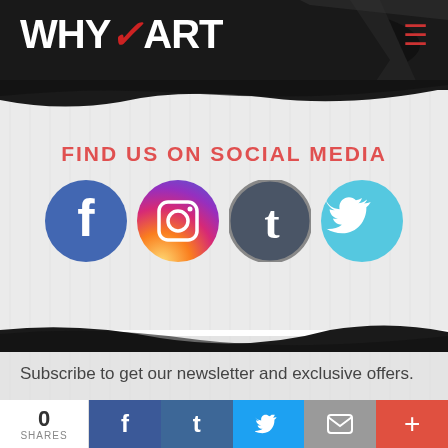WHY ART
FIND US ON SOCIAL MEDIA
[Figure (illustration): Four social media icons in circles: Facebook (blue), Instagram (gradient purple/orange), Tumblr (dark grey), Twitter (cyan/teal)]
Subscribe to get our newsletter and exclusive offers.
0 SHARES | Facebook | Tumblr | Twitter | Email | +